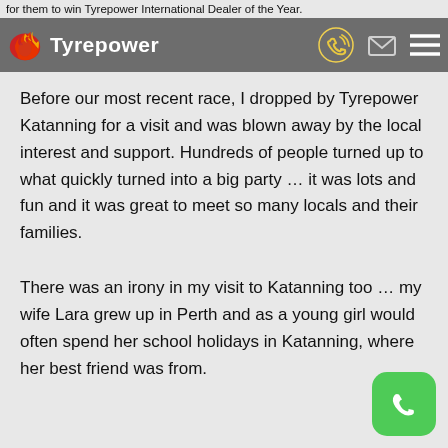for them to win Tyrepower International Dealer of the Year.
Tyrepower
Before our most recent race, I dropped by Tyrepower Katanning for a visit and was blown away by the local interest and support. Hundreds of people turned up to what quickly turned into a big party … it was lots and fun and it was great to meet so many locals and their families.
There was an irony in my visit to Katanning too … my wife Lara grew up in Perth and as a young girl would often spend her school holidays in Katanning, where her best friend was from.